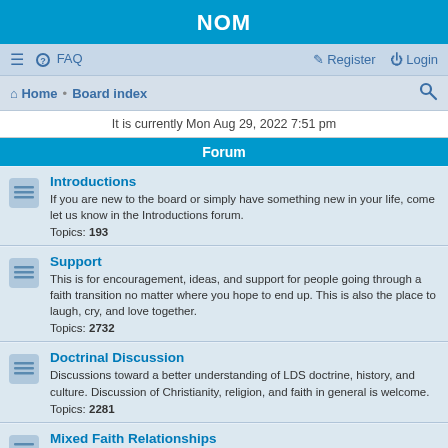NOM
≡  FAQ    Register  Login
Home · Board index
It is currently Mon Aug 29, 2022 7:51 pm
Forum
Introductions
If you are new to the board or simply have something new in your life, come let us know in the Introductions forum.
Topics: 193
Support
This is for encouragement, ideas, and support for people going through a faith transition no matter where you hope to end up. This is also the place to laugh, cry, and love together.
Topics: 2732
Doctrinal Discussion
Discussions toward a better understanding of LDS doctrine, history, and culture. Discussion of Christianity, religion, and faith in general is welcome.
Topics: 2281
Mixed Faith Relationships
Discussions about negotiating relationships between faithful LDS believers and the apostates who love them. This applies in particular to mixed-faith marriages, but relations with children, parents, siblings, friends, and ward members is very welcome.
Topics: 158
The Coffee Shop
Chat about a topic suggested by books, TED Talks, podcasts, personal...